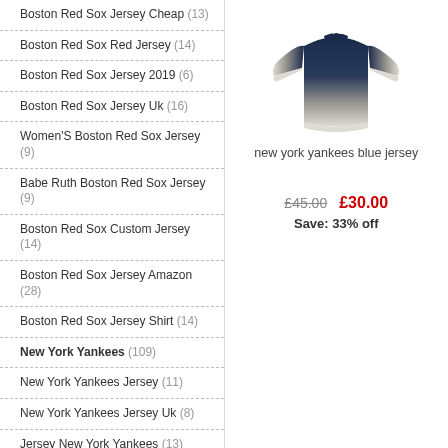Boston Red Sox Jersey Cheap (13)
Boston Red Sox Red Jersey (14)
Boston Red Sox Jersey 2019 (6)
Boston Red Sox Jersey Uk (16)
Women'S Boston Red Sox Jersey (9)
Babe Ruth Boston Red Sox Jersey (9)
Boston Red Sox Custom Jersey (14)
Boston Red Sox Jersey Amazon (28)
Boston Red Sox Jersey Shirt (14)
New York Yankees (109)
New York Yankees Jersey (11)
New York Yankees Jersey Uk (8)
Jersey New York Yankees (13)
New York Yankees 99 Jersey (9)
New York Yankees Away Jersey (11)
[Figure (photo): New York Yankees blue jersey - navy blue gradient to white/grey long sleeve spirit jersey with NY logo]
new york yankees blue jersey
£45.00  £30.00  Save: 33% off